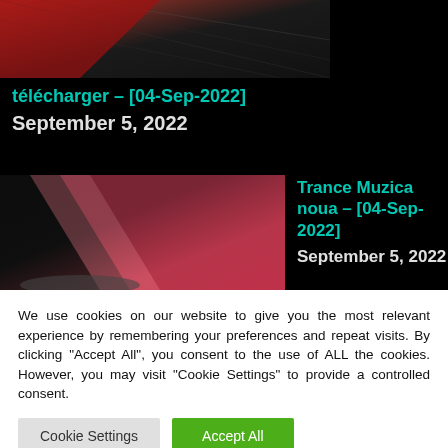[Figure (photo): Close-up of a textured surface with red and dark diagonal patterns, partially cropped at top]
télécharger – [04-Sep-2022]
September 5, 2022
[Figure (photo): Close-up macro photograph of LED or speaker mesh with red, pink and black diagonal color bands]
Trance Muzica noua – [04-Sep-2022]
September 5, 2022
We use cookies on our website to give you the most relevant experience by remembering your preferences and repeat visits. By clicking "Accept All", you consent to the use of ALL the cookies. However, you may visit "Cookie Settings" to provide a controlled consent.